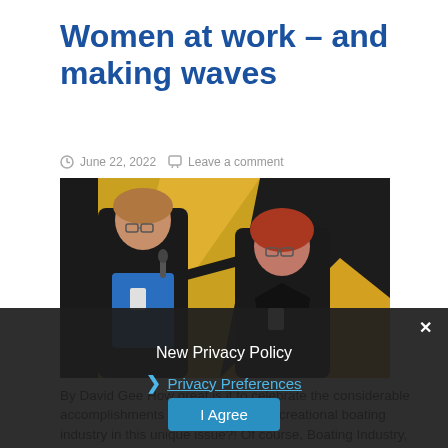Women at work – and making waves
June 22, 2022   Leave a comment
[Figure (photo): Two women at an indoor event, one in a blue top holding a microphone, the other in a black jacket, with a yellow and black backdrop.]
By David Gee How great is it to celebrate the considerable accomplishments of women in the recreational boating industry in this unique issue?! Of course, Boating Industry, and parent company Brand Acceleration, support and lift up women in
New Privacy Policy
Privacy Preferences
I Agree